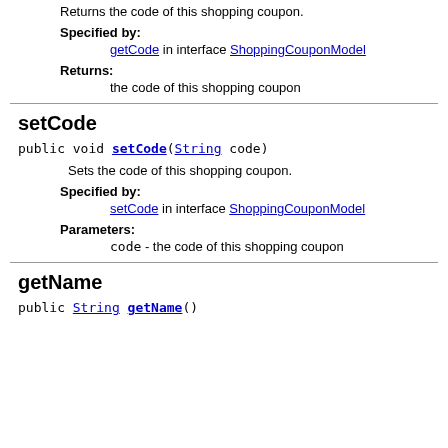Returns the code of this shopping coupon.
Specified by:
getCode in interface ShoppingCouponModel
Returns:
the code of this shopping coupon
setCode
public void setCode(String code)
Sets the code of this shopping coupon.
Specified by:
setCode in interface ShoppingCouponModel
Parameters:
code - the code of this shopping coupon
getName
public String getName()